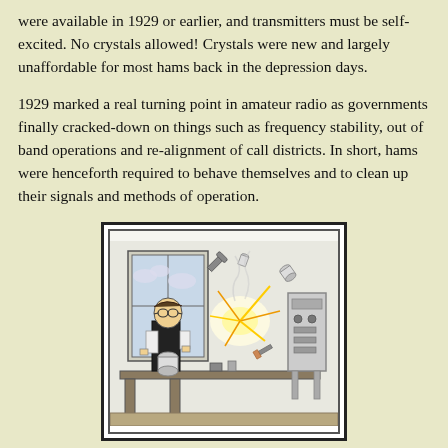were available in 1929 or earlier, and transmitters must be self-excited. No crystals allowed! Crystals were new and largely unaffordable for most hams back in the depression days.
1929 marked a real turning point in amateur radio as governments finally cracked-down on things such as frequency stability, out of band operations and re-alignment of call districts. In short, hams were henceforth required to behave themselves and to clean up their signals and methods of operation.
[Figure (illustration): A vintage cartoon illustration showing a young man with glasses at a workbench. An explosion or electrical discharge is occurring, with various radio components (tubes, tools, wires) flying through the air in all directions. The scene depicts a chaotic amateur radio experiment gone wrong.]